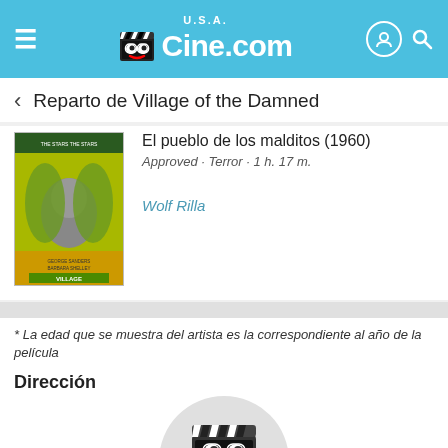U.S.A. Cine.com
Reparto de Village of the Damned
El pueblo de los malditos (1960)
Approved · Terror · 1 h. 17 m.
Wolf Rilla
[Figure (photo): Movie poster for El pueblo de los malditos (1960), yellow-green toned horror film poster]
* La edad que se muestra del artista es la correspondiente al año de la película
Dirección
[Figure (photo): Circular placeholder image with clapperboard cartoon mascot and text IMAGEN NO DISPONIBLE]